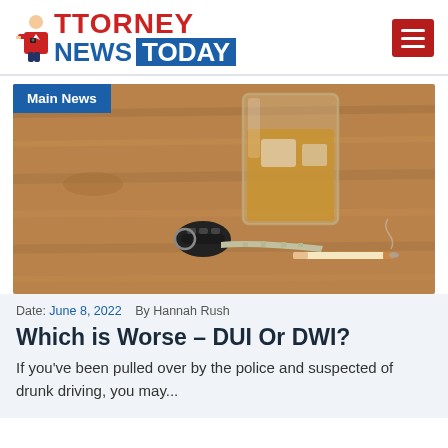[Figure (logo): Attorney News Today logo with person icon, red ATTORNEY text, blue NEWS and blue box TODAY text]
[Figure (photo): Photo of a whiskey glass on a wooden table with car keys and a cigarette, illustrating drunk driving article. 'Main News' badge in top-left corner.]
Date: June 8, 2022   By Hannah Rush
Which is Worse – DUI Or DWI?
If you've been pulled over by the police and suspected of drunk driving, you may...